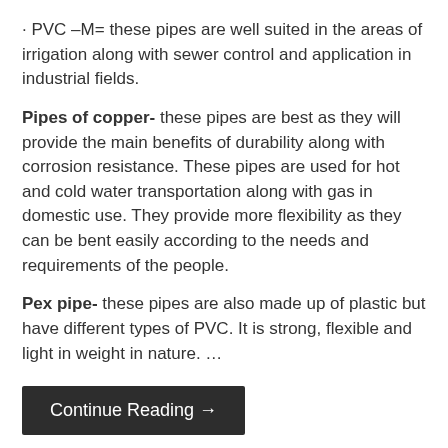· PVC –M= these pipes are well suited in the areas of irrigation along with sewer control and application in industrial fields.
Pipes of copper- these pipes are best as they will provide the main benefits of durability along with corrosion resistance. These pipes are used for hot and cold water transportation along with gas in domestic use. They provide more flexibility as they can be bent easily according to the needs and requirements of the people.
Pex pipe- these pipes are also made up of plastic but have different types of PVC. It is strong, flexible and light in weight in nature. …
Continue Reading →